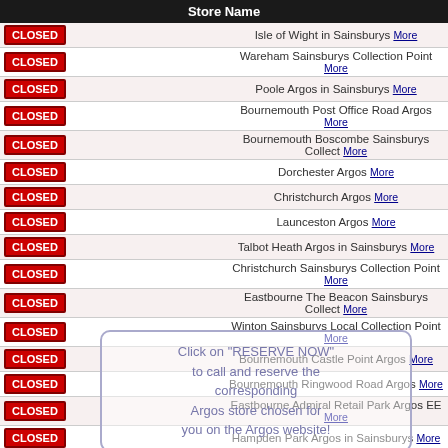| Store Name |
| --- |
| CLOSED | Isle of Wight in Sainsburys More |
| CLOSED | Wareham Sainsburys Collection Point More |
| CLOSED | Poole Argos in Sainsburys More |
| CLOSED | Bournemouth Post Office Road Argos More |
| CLOSED | Bournemouth Boscombe Sainsburys Collect More |
| CLOSED | Dorchester Argos More |
| CLOSED | Christchurch Argos More |
| CLOSED | Launceston Argos More |
| CLOSED | Talbot Heath Argos in Sainsburys More |
| CLOSED | Christchurch Sainsburys Collection Point More |
| CLOSED | Eastbourne The Beacon Sainsburys Collect More |
| CLOSED | Winton Sainsburys Local Collection Point More |
| CLOSED | Bournemouth Castle Point Argos More |
| CLOSED | Bournemouth Ringwood Road Argos More |
| CLOSED | Eastbourne Admiral Retail Park Argos EE More |
| CLOSED | Hampden Park Argos in Sainsburys More |
| CLOSED | Southsea Albert Rd Sainsburys CP More |
| CLOSED | Exeter Stone Lane Retail Park Argos More |
| CLOSED | Newhaven Argos in Sainsburys More |
| CLOSED | Bognor Regis Argos in Sainsburys More |
| CLOSED | Gosport Argos More |
| CLOSED | Portsmouth Argos More |